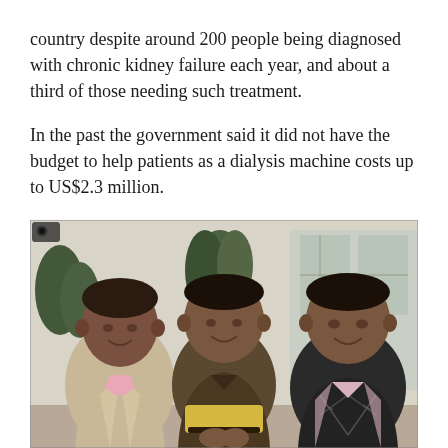country despite around 200 people being diagnosed with chronic kidney failure each year, and about a third of those needing such treatment.
In the past the government said it did not have the budget to help patients as a dialysis machine costs up to US$2.3 million.
[Figure (photo): Three men standing together posing for a photo indoors. The man on the left wears a beige/tan blazer over a pink shirt. The man in the center wears a traditional dark brown outfit with a yellow/tan woven sash belt. The man on the right wears a black argyle vest over a light pink shirt. There are plants and a white building with windows visible in the background.]